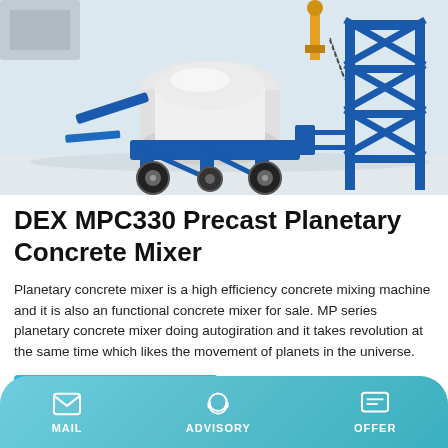[Figure (photo): Photo of DEX MPC330 Precast Planetary Concrete Mixer — a large blue and white industrial concrete mixer machine on wheels with a blue steel frame/tower structure to the right, on a light grey surface.]
DEX MPC330 Precast Planetary Concrete Mixer
Planetary concrete mixer is a high efficiency concrete mixing machine and it is also an functional concrete mixer for sale. MP series planetary concrete mixer doing autogiration and it takes revolution at the same time which likes the movement of planets in the universe.
Learn More
[Figure (photo): Partial photo of a concrete or industrial structure with dark grey panels/doors visible at the bottom of the page.]
MAIL   ADVISORY   OFFER